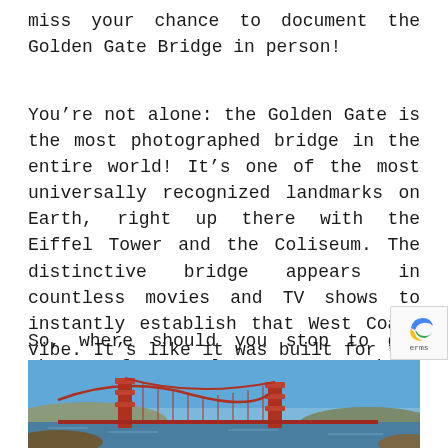miss your chance to document the Golden Gate Bridge in person!
You’re not alone: the Golden Gate is the most photographed bridge in the entire world! It’s one of the most universally recognized landmarks on Earth, right up there with the Eiffel Tower and the Coliseum. The distinctive bridge appears in countless movies and TV shows to instantly establish that West Coast vibe. It’s like it was built for the camera!
So, where should you stop to get that perfect angle? Here are three places you can park your car and get a great view of the spectacular Golden Gate!
[Figure (photo): Photo of the Golden Gate Bridge with blue sky background, showing the iconic red suspension towers and cables. A portion of the bridge deck and surrounding landscape visible at the bottom.]